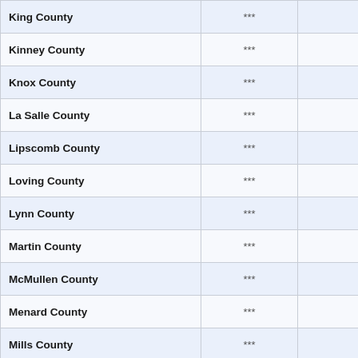| County | Col2 | Col3 |
| --- | --- | --- |
| King County | *** | * |
| Kinney County | *** | * |
| Knox County | *** | * |
| La Salle County | *** | * |
| Lipscomb County | *** | * |
| Loving County | *** | * |
| Lynn County | *** | * |
| Martin County | *** | * |
| McMullen County | *** | * |
| Menard County | *** | * |
| Mills County | *** | * |
| Motley County | *** | * |
| Oldham County | *** | * |
| Parmer County | *** | * |
| Presidio County | *** | * |
| Reagan County | *** | * |
| Roberts County | *** | * |